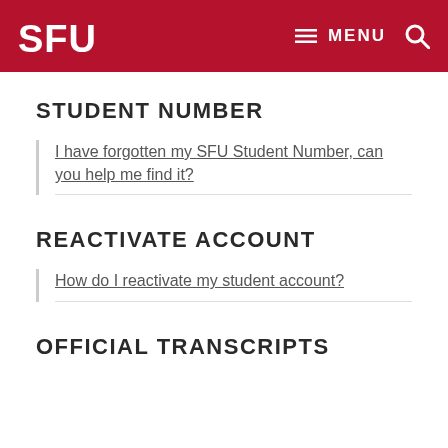SFU | MENU
STUDENT NUMBER
I have forgotten my SFU Student Number, can you help me find it?
REACTIVATE ACCOUNT
How do I reactivate my student account?
OFFICIAL TRANSCRIPTS